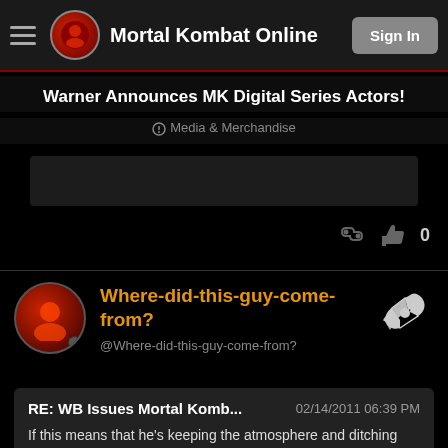Mortal Kombat Online  Sign In
Warner Announces MK Digital Series Actors!
Media & Merchandise
Where-did-this-guy-come-from?
@Where-did-this-guy-come-from?
RE: WB Issues Mortal Komb...  02/14/2011 06:39 PM
If this means that he's keeping the atmosphere and ditching the generic Gotham City spiel, then bring it the hell on. I'd love some video media for MK if it means its true to the story of the games, a factor that made me ...